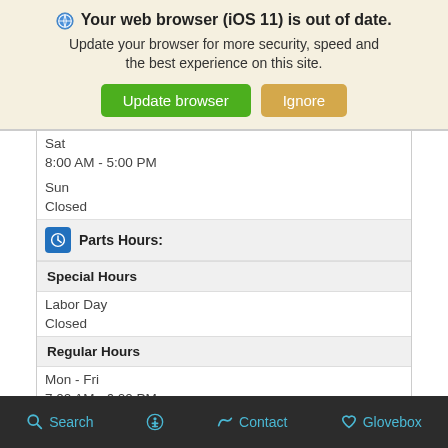[Figure (screenshot): Browser out of date warning banner with Update browser (green) and Ignore (tan) buttons]
Sat
8:00 AM - 5:00 PM
Sun
Closed
Parts Hours:
Special Hours
Labor Day
Closed
Regular Hours
Mon - Fri
7:00 AM - 6:00 PM
Sat
Search  Accessibility  Contact  Glovebox